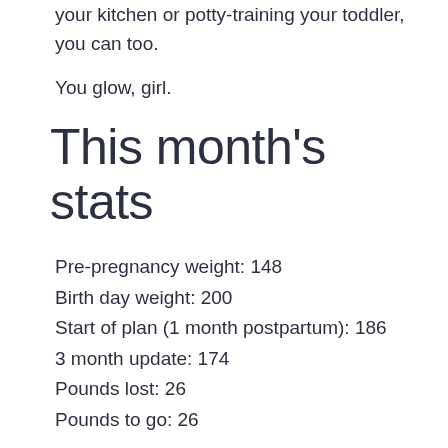your kitchen or potty-training your toddler, you can too.
You glow, girl.
This month's stats
Pre-pregnancy weight: 148
Birth day weight: 200
Start of plan (1 month postpartum): 186
3 month update: 174
Pounds lost: 26
Pounds to go: 26
Woooot! I'm officially at the halfway